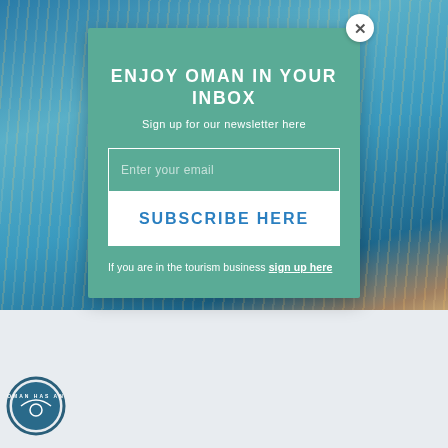[Figure (photo): Background photo of blue water with reflections, partially visible behind a modal popup overlay]
ENJOY OMAN IN YOUR INBOX
Sign up for our newsletter here
Enter your email
SUBSCRIBE HERE
If you are in the tourism business sign up here